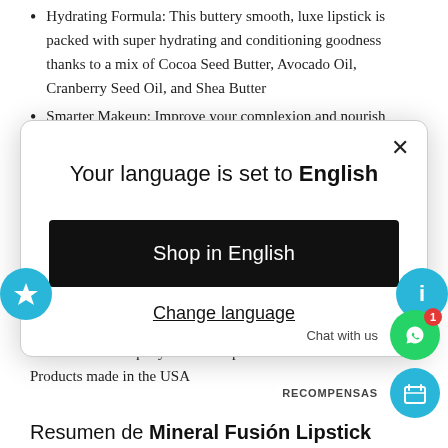Hydrating Formula: This buttery smooth, luxe lipstick is packed with super hydrating and conditioning goodness thanks to a mix of Cocoa Seed Butter, Avocado Oil, Cranberry Seed Oil, and Shea Butter
Smarter Makeup: Improve your complexion and nourish
[Figure (screenshot): Modal dialog overlay with close button (X), text 'Your language is set to English', a black 'Shop in English' button, and an underlined 'Change language' link]
polish, hair care, body care and skin care, each formulated to deliver the uniquely beneficial power of minerals. Products made in the USA
Resumen de Mineral Fusión Lipstick
[Figure (infographic): Floating cyan star button on left side, cyan info button on right side, WhatsApp chat widget with 'Chat with us' label and notification badge showing 1, RECOMPENSAS rewards widget with cyan calendar icon]